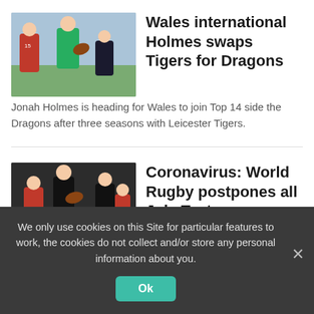[Figure (photo): Rugby players in action, player in red jersey numbered 15 and player in green jersey being tackled on a rugby field]
Wales international Holmes swaps Tigers for Dragons
Jonah Holmes is heading for Wales to join Top 14 side the Dragons after three seasons with Leicester Tigers.
[Figure (photo): Rugby players in action, All Blacks player in black jersey carrying the ball pursued by players in red jerseys]
Coronavirus: World Rugby postpones all July Tests
There will be no international rugby in July after Tests involving South Africa, New
We only use cookies on this Site for particular features to work, the cookies do not collect and/or store any personal information about you.